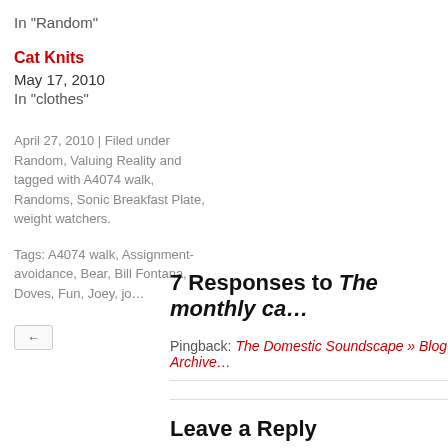In "Random"
Cat Knits
May 17, 2010
In "clothes"
April 27, 2010 | Filed under Random, Valuing Reality and tagged with A4074 walk, Randoms, Sonic Breakfast Plate, weight watchers.
Tags: A4074 walk, Assignment-avoidance, Bear, Bill Fontana, Doves, Fun, Joey, jo…
←
7 Responses to The monthly ca…
Pingback: The Domestic Soundscape » Blog Archive…
Leave a Reply
Your email address will not be published. Required field…